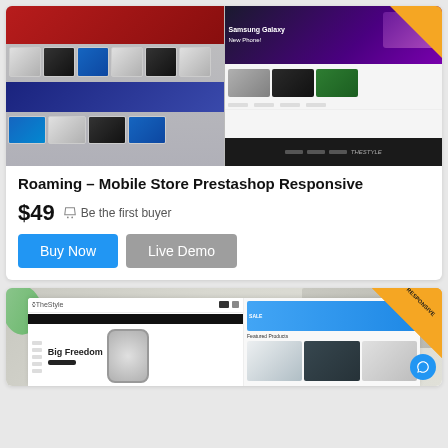[Figure (screenshot): Screenshot of Roaming Mobile Store Prestashop Responsive theme showing phone product grid with red banner and Samsung Galaxy banner with dark footer]
Roaming – Mobile Store Prestashop Responsive
$49  Be the first buyer
Buy Now   Live Demo
[Figure (screenshot): Screenshot of TheStyle ecommerce theme showing a smartwatch with Big Freedom text and product accessories grid, with RESPONSIVE gold badge in corner and blue chat bubble]